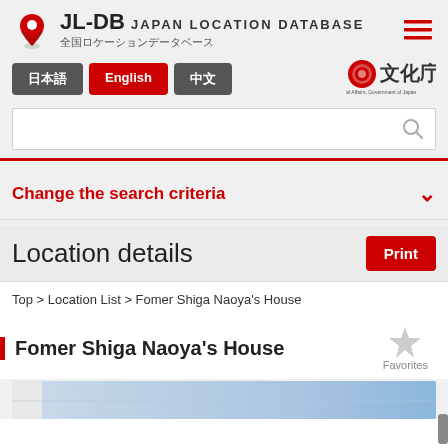JL-DB JAPAN LOCATION DATABASE 全国ロケーションデータベース
日本語  English  中文
[Figure (logo): Agency for Cultural Affairs, Government of Japan logo]
Search box
Change the search criteria
Location details
Top > Location List > Fomer Shiga Naoya's House
Fomer Shiga Naoya's House
[Figure (map): Map preview showing location of Fomer Shiga Naoya's House]